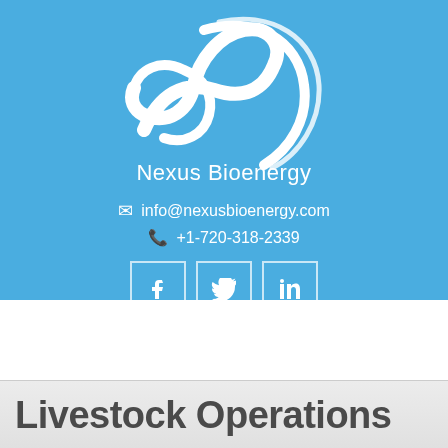[Figure (logo): Nexus Bioenergy logo - white swirling leaf/wave shape on blue background]
Nexus Bioenergy
info@nexusbioenergy.com
+1-720-318-2339
[Figure (other): Social media icons: Facebook, Twitter, LinkedIn in white bordered boxes]
[Figure (other): Scroll-to-top button with arrow and menu icon]
Livestock Operations